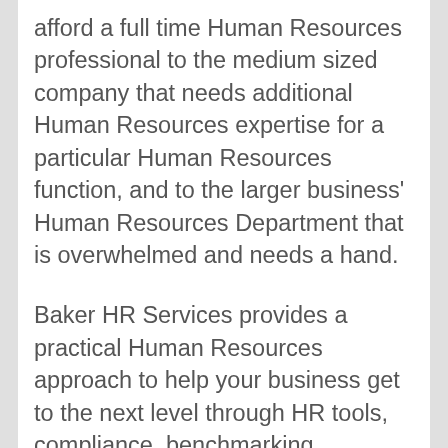afford a full time Human Resources professional to the medium sized company that needs additional Human Resources expertise for a particular Human Resources function, and to the larger business' Human Resources Department that is overwhelmed and needs a hand.
Baker HR Services provides a practical Human Resources approach to help your business get to the next level through HR tools, compliance, benchmarking, employee engagement, recognition, training, HR projects, HR Outsourcing, Recruiting and HR advice and HR guidance.
We provide Human Resources assistance with a custom approach, being as hands